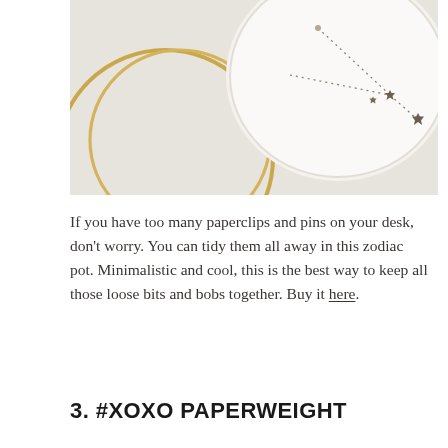[Figure (photo): A flat-lay photo on a white linen background showing two gold hoop/ring jewelry pieces on the left and a white round ceramic zodiac dish/pot on the right featuring a constellation necklace with small star charms arranged in a Capricorn or similar zodiac pattern.]
If you have too many paperclips and pins on your desk, don't worry. You can tidy them all away in this zodiac pot. Minimalistic and cool, this is the best way to keep all those loose bits and bobs together. Buy it here.
3. #XOXO PAPERWEIGHT